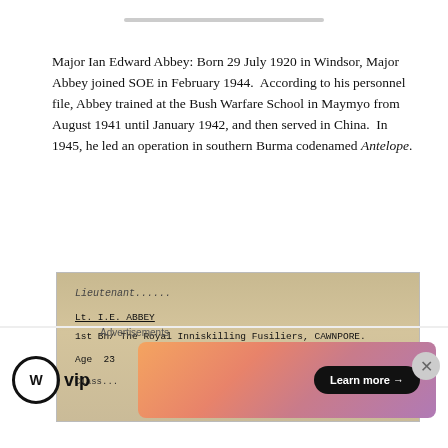Major Ian Edward Abbey: Born 29 July 1920 in Windsor, Major Abbey joined SOE in February 1944.  According to his personnel file, Abbey trained at the Bush Warfare School in Maymyo from August 1941 until January 1942, and then served in China.  In 1945, he led an operation in southern Burma codenamed Antelope.
[Figure (photo): Scanned document page showing typed text: 'Lt. I.E. ABBEY, 1st Bn/ The Royal Inniskilling Fusiliers, CAWNPORE. Age 23  N.C.O.' on aged paper background.]
Advertisements
[Figure (logo): WordPress VIP logo: circular W icon followed by 'vip' text in bold.]
[Figure (infographic): Advertisement banner with gradient background (orange to purple) and a 'Learn more →' button in black.]